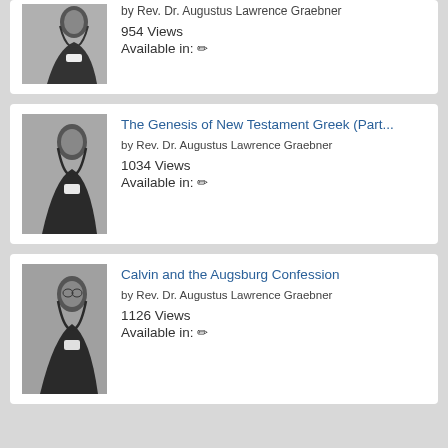[Figure (photo): Black and white portrait photo of Rev. Dr. Augustus Lawrence Graebner (partial, top of card)]
by Rev. Dr. Augustus Lawrence Graebner
954 Views
Available in: ✏
[Figure (photo): Black and white portrait photo of Rev. Dr. Augustus Lawrence Graebner (side profile)]
The Genesis of New Testament Greek (Part...
by Rev. Dr. Augustus Lawrence Graebner
1034 Views
Available in: ✏
[Figure (photo): Black and white portrait photo of Rev. Dr. Augustus Lawrence Graebner (side profile)]
Calvin and the Augsburg Confession
by Rev. Dr. Augustus Lawrence Graebner
1126 Views
Available in: ✏